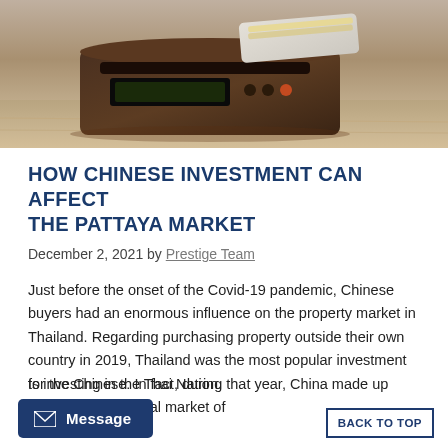[Figure (photo): Photo of a money counting machine on a wooden surface, viewed from an angle showing the top and side of the dark brown machine with a white paper tray]
HOW CHINESE INVESTMENT CAN AFFECT THE PATTAYA MARKET
December 2, 2021 by Prestige Team
Just before the onset of the Covid-19 pandemic, Chinese buyers had an enormous influence on the property market in Thailand. Regarding purchasing property outside their own country in 2019, Thailand was the most popular investment for the Chinese. In fact, during that year, China made up over 43% of the total market of [foreigners] investing in the Thai Nation.